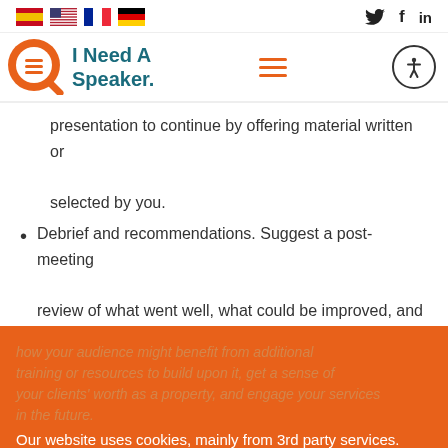Flags: ES, US, FR, DE | Social: Twitter, Facebook, LinkedIn
[Figure (logo): I Need A Speaker logo with orange magnifying glass icon and teal text]
presentation to continue by offering material written or selected by you.
Debrief and recommendations. Suggest a post-meeting review of what went well, what could be improved, and how your audience might benefit from additional training or resources to build upon it, get a sense of your clients' worth as a property, and engage your services in the future.
Our website uses cookies, mainly from 3rd party services. Define your Privacy Preferences and/or agree to our use of cookies.
Preferences
I Agree